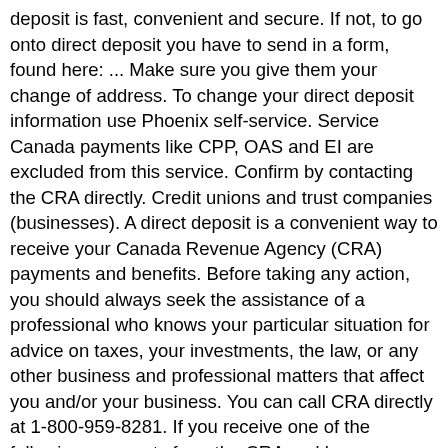deposit is fast, convenient and secure. If not, to go onto direct deposit you have to send in a form, found here: ... Make sure you give them your change of address. To change your direct deposit information use Phoenix self-service. Service Canada payments like CPP, OAS and EI are excluded from this service. Confirm by contacting the CRA directly. Credit unions and trust companies (businesses). A direct deposit is a convenient way to receive your Canada Revenue Agency (CRA) payments and benefits. Before taking any action, you should always seek the assistance of a professional who knows your particular situation for advice on taxes, your investments, the law, or any other business and professional matters that affect you and/or your business. You can call CRA directly at 1-800-959-8281. If you receive one of the following payments from the CRA and have a Canadian bank account, you can sign up for direct deposit: If you have already signed up for direct deposit with the CRA, we will use the existing bank account information for any payments you are entitled to receive. You will not receive a reply. @misspeach616 Since you've already filed your tax return for this year, unfortunately, there is no way to update that banking information. Set up a direct deposit with CRA online get your money as soon as possible. You may receive cheques in the mail if they have been processed before CRA has completed your